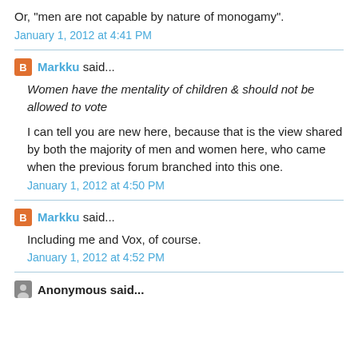Or, "men are not capable by nature of monogamy".
January 1, 2012 at 4:41 PM
Markku said...
Women have the mentality of children & should not be allowed to vote
I can tell you are new here, because that is the view shared by both the majority of men and women here, who came when the previous forum branched into this one.
January 1, 2012 at 4:50 PM
Markku said...
Including me and Vox, of course.
January 1, 2012 at 4:52 PM
Anonymous said...